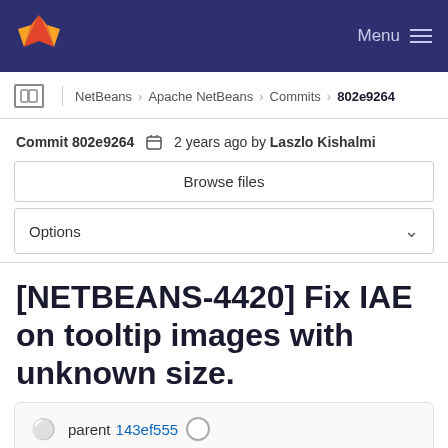[Figure (screenshot): GitLab navigation bar with fox logo and Menu button]
NetBeans > Apache NetBeans > Commits > 802e9264
Commit 802e9264  2 years ago by Laszlo Kishalmi
Browse files
Options
[NETBEANS-4420] Fix IAE on tooltip images with unknown size.
parent 143ef555